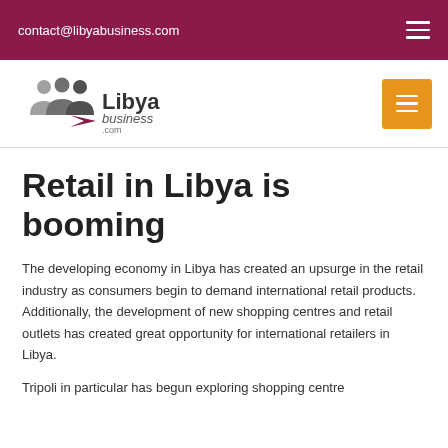contact@libyabusiness.com
[Figure (logo): Libyabusiness.com logo with three business person silhouettes and an arrow]
Retail in Libya is booming
The developing economy in Libya has created an upsurge in the retail industry as consumers begin to demand international retail products. Additionally, the development of new shopping centres and retail outlets has created great opportunity for international retailers in Libya.
Tripoli in particular has begun exploring shopping centre development…